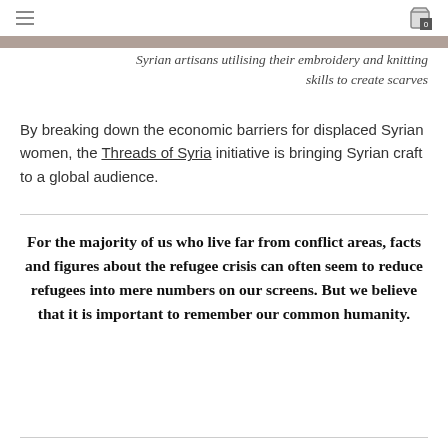≡  [cart icon] 0
Syrian artisans utilising their embroidery and knitting skills to create scarves
By breaking down the economic barriers for displaced Syrian women, the Threads of Syria initiative is bringing Syrian craft to a global audience.
For the majority of us who live far from conflict areas, facts and figures about the refugee crisis can often seem to reduce refugees into mere numbers on our screens. But we believe that it is important to remember our common humanity.